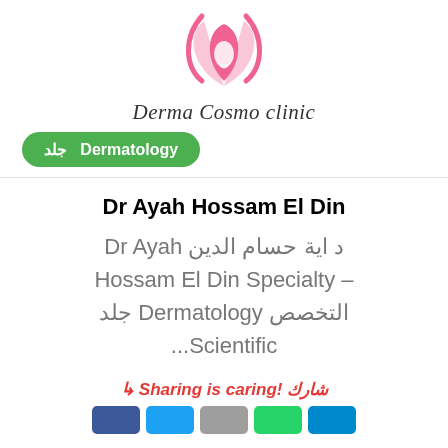[Figure (logo): Pink lotus flower logo with a face silhouette, Derma Cosmo Clinic branding]
Derma Cosmo clinic
Dermatology جلد
Dr Ayah Hossam El Din
د اية حسام الدين Dr Ayah – Hossam El Din Specialty التخصص Dermatology جلد Scientific...
Sharing is caring! شارك